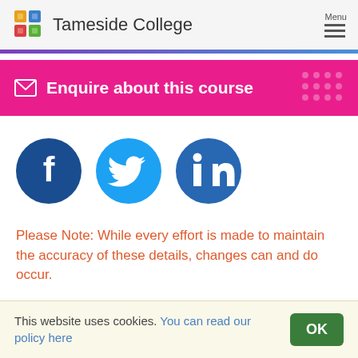Tameside College
[Figure (infographic): Enquire about this course banner with envelope icon and dot pattern]
[Figure (infographic): Social media icons: Facebook (dark blue circle with f), Twitter (light blue circle with bird), LinkedIn (blue circle with in)]
Please Note: While every effort is made to maintain the accuracy of these details, changes can and do occur.
This website uses cookies. You can read our policy here